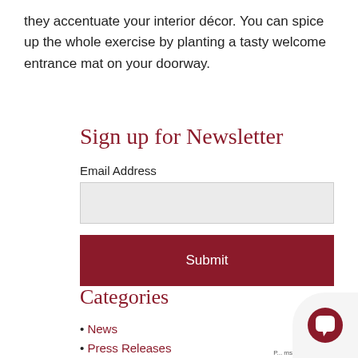they accentuate your interior décor. You can spice up the whole exercise by planting a tasty welcome entrance mat on your doorway.
Sign up for Newsletter
Email Address
Categories
News
Press Releases
White Papers